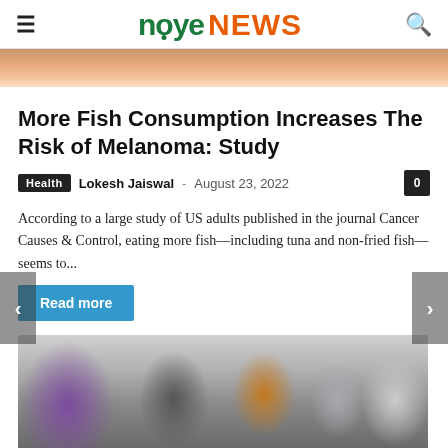noye NEWS
[Figure (photo): Close-up partial image of skin, possibly showing a skin condition, warm peachy-orange tones]
More Fish Consumption Increases The Risk of Melanoma: Study
Health  Lokesh Jaiswal  -  August 23, 2022  0
According to a large study of US adults published in the journal Cancer Causes & Control, eating more fish—including tuna and non-fried fish—seems to...
Read more
[Figure (photo): Group of people wearing face masks outdoors, includes people in various colored clothing — purple shirt, dark dotted top, yellow top, white/light outfit]